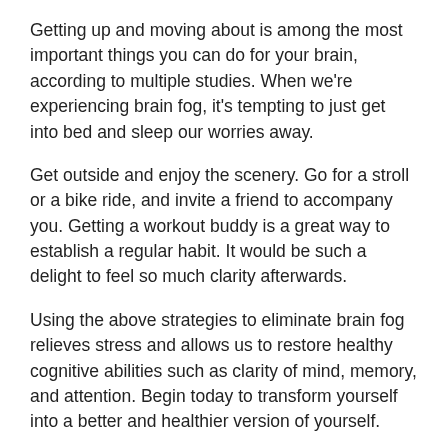Getting up and moving about is among the most important things you can do for your brain, according to multiple studies. When we're experiencing brain fog, it's tempting to just get into bed and sleep our worries away.
Get outside and enjoy the scenery. Go for a stroll or a bike ride, and invite a friend to accompany you. Getting a workout buddy is a great way to establish a regular habit. It would be such a delight to feel so much clarity afterwards.
Using the above strategies to eliminate brain fog relieves stress and allows us to restore healthy cognitive abilities such as clarity of mind, memory, and attention. Begin today to transform yourself into a better and healthier version of yourself.
Conclusion
In this article, we looked at why your mind doesn't feel right and what may be the cause behind it.